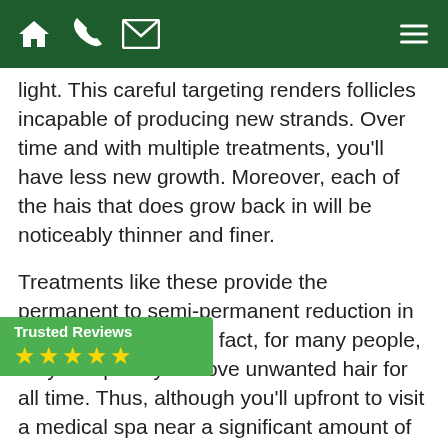Navigation bar with home, phone, mail icons and hamburger menu
light. This careful targeting renders follicles incapable of producing new strands. Over time and with multiple treatments, you'll have less new growth. Moreover, each of the hais that does grow back in will be noticeably thinner and finer.
Treatments like these provide the permanent to semi-permanent reduction in unwanted strands. In fact, for many people, they completely remove unwanted hair for all time. Thus, although you'll upfront to visit a medical spa near a significant amount of money in the long run. Once your treatments are
[Figure (infographic): Trusted Reviews badge with green background, white text 'Trusted Reviews' and five yellow stars below]